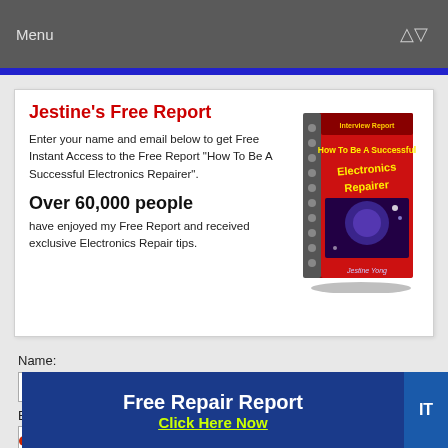Menu
[Figure (screenshot): Promotional card for Jestine's Free Report - How To Be A Successful Electronics Repairer, showing a book cover image on the right]
Jestine's Free Report
Enter your name and email below to get Free Instant Access to the Free Report "How To Be A Successful Electronics Repairer".
Over 60,000 people
have enjoyed my Free Report and received exclusive Electronics Repair tips.
Name:
Email:
Free Repair Report Click Here Now